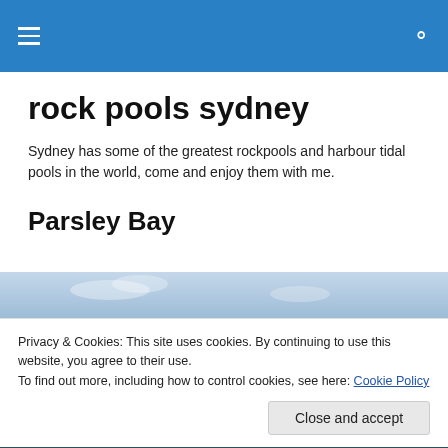rock pools sydney
rock pools sydney
Sydney has some of the greatest rockpools and harbour tidal pools in the world, come and enjoy them with me.
Parsley Bay
[Figure (photo): Photo strip of Parsley Bay — sky and water, light blue tones]
Privacy & Cookies: This site uses cookies. By continuing to use this website, you agree to their use.
To find out more, including how to control cookies, see here: Cookie Policy
[Figure (photo): Bottom photo strip — darker water scene]